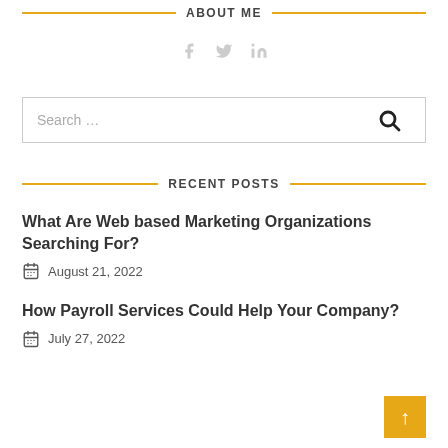ABOUT ME
[Figure (infographic): Social media icons: Facebook (f), Twitter (bird), LinkedIn (in) displayed in light gray]
[Figure (other): Search bar with placeholder text 'Search ...' and a search button with magnifying glass icon]
RECENT POSTS
What Are Web based Marketing Organizations Searching For?
August 21, 2022
How Payroll Services Could Help Your Company?
July 27, 2022